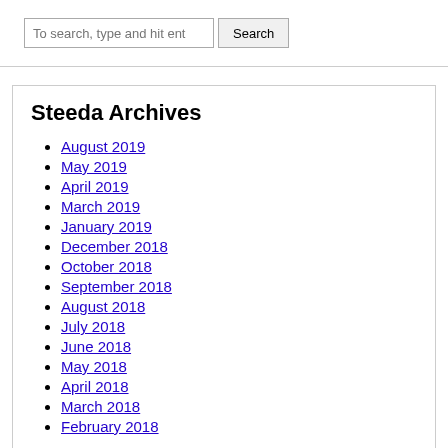To search, type and hit ent [Search]
Steeda Archives
August 2019
May 2019
April 2019
March 2019
January 2019
December 2018
October 2018
September 2018
August 2018
July 2018
June 2018
May 2018
April 2018
March 2018
February 2018